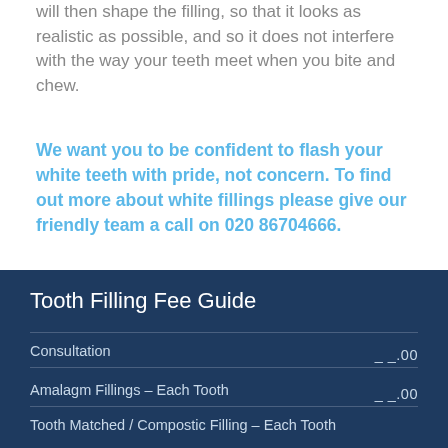will then shape the filling, so that it looks as realistic as possible, and so it does not interfere with the way your teeth meet when you bite and chew.
We want you to be confident to flash your white teeth with pride, not concern. To find out more about white fillings please give our friendly team a call on 020 86704666.
| Service | Fee |
| --- | --- |
| Consultation | __.00 |
| Amalagm Fillings – Each Tooth | __.00 |
| Tooth Matched / Compostic Filling – Each Tooth |  |